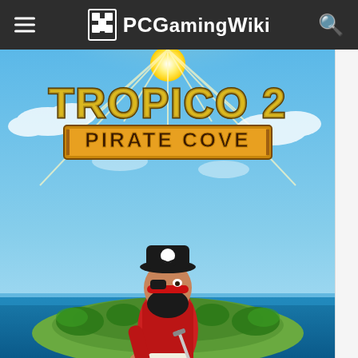PCGamingWiki
[Figure (illustration): Tropico 2: Pirate Cove game cover art showing a cartoon pirate character with a sword and treasure necklace standing on a tropical island, with the game title in golden letters against a blue sky background]